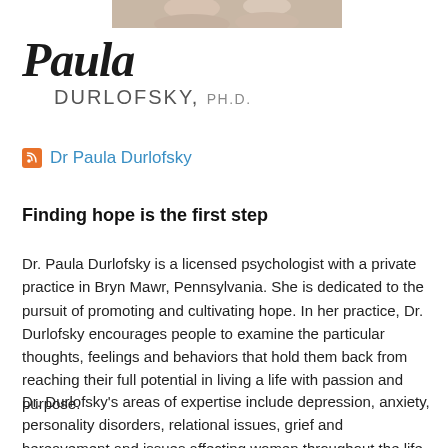[Figure (photo): Partial photo strip at top of page showing a person or people, cropped]
Paula DURLOFSKY, PH.D.
Dr Paula Durlofsky
Finding hope is the first step
Dr. Paula Durlofsky is a licensed psychologist with a private practice in Bryn Mawr, Pennsylvania. She is dedicated to the pursuit of promoting and cultivating hope. In her practice, Dr. Durlofsky encourages people to examine the particular thoughts, feelings and behaviors that hold them back from reaching their full potential in living a life with passion and purpose.
Dr. Durlofsky's areas of expertise include depression, anxiety, personality disorders, relational issues, grief and bereavement and issues affecting women throughout the life span. She has a special interest in